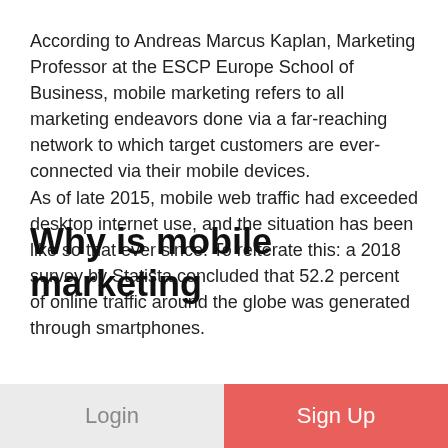According to Andreas Marcus Kaplan, Marketing Professor at the ESCP Europe School of Business, mobile marketing refers to all marketing endeavors done via a far-reaching network to which target customers are ever-connected via their mobile devices. As of late 2015, mobile web traffic had exceeded desktop internet use, and the situation has been like so that ever since. To reiterate this: a 2018 survey by Statista concluded that 52.2 percent of online traffic around the globe was generated through smartphones.
Why is mobile marketing